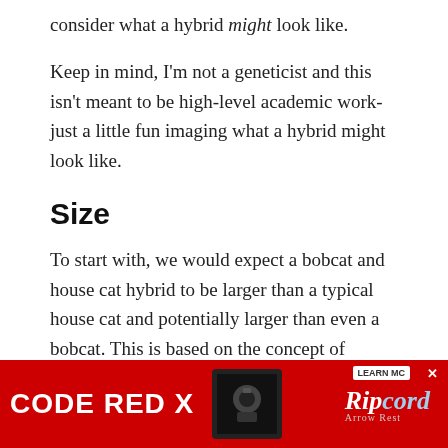consider what a hybrid might look like.
Keep in mind, I'm not a geneticist and this isn't meant to be high-level academic work- just a little fun imaging what a hybrid might look like.
Size
To start with, we would expect a bobcat and house cat hybrid to be larger than a typical house cat and potentially larger than even a bobcat. This is based on the concept of heterosis which is applicable to both plants and animals.
Simply put, heterosis often results in offspring that's superior to either parent in certain traits